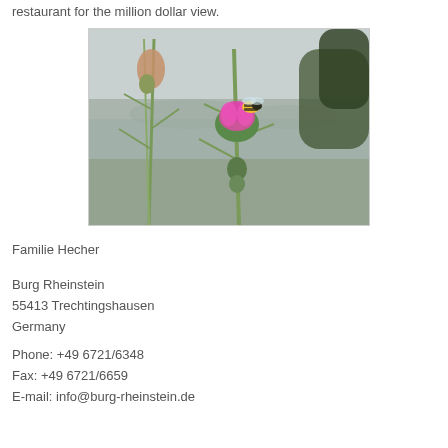restaurant for the million dollar view.
[Figure (photo): Close-up photograph of a thistle plant with a pink/purple flower and a bumblebee on it, with a blurred town and landscape visible in the background.]
Familie Hecher
Burg Rheinstein
55413 Trechtingshausen
Germany
Phone: +49 6721/6348
Fax: +49 6721/6659
E-mail: info@burg-rheinstein.de